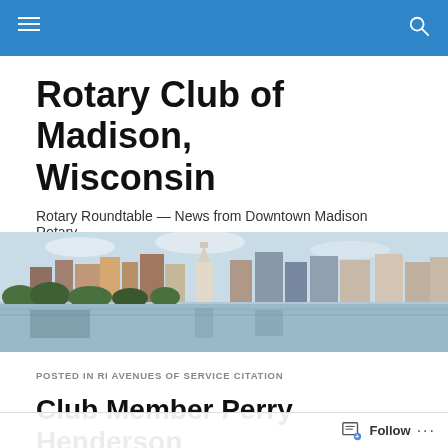Navigation bar with hamburger menu and search icon
Rotary Club of Madison, Wisconsin
Rotary Roundtable — News from Downtown Madison Rotary
[Figure (photo): Panoramic photo of Madison, Wisconsin city skyline with the State Capitol building visible, reflected in a lake in the foreground, with trees and buildings in the background under a partly cloudy sky.]
POSTED IN RI AVENUES OF SERVICE CITATION
Club Member Perry Henderson Receives RI Avenues…